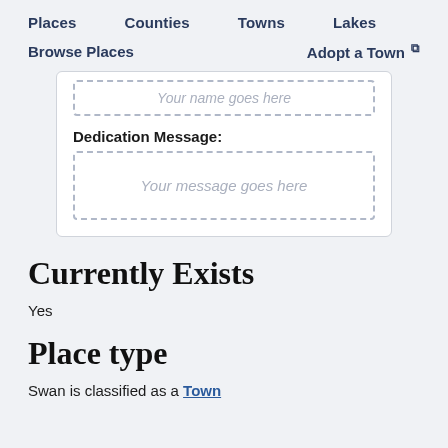Places   Counties   Towns   Lakes
Browse Places   Adopt a Town
[Figure (screenshot): Partial form card with a dashed-border text input showing placeholder 'Your name goes here', a 'Dedication Message:' label, and a dashed-border textarea showing placeholder 'Your message goes here']
Currently Exists
Yes
Place type
Swan is classified as a Town